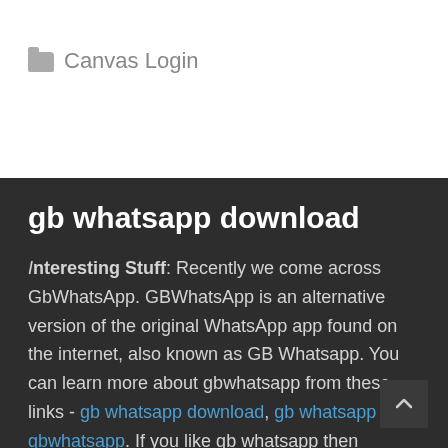Canvas Login
gb whatsapp download
Interesting Stuff: Recently we come across GbWhatsApp. GBWhatsApp is an alternative version of the original WhatsApp app found on the internet, also known as GB Whatsapp. You can learn more about gbwhatsapp from these links - gb whatsapp download, gb whatsapp or gbwhatsapp. If you like gb whatsapp then amazing, we are glad